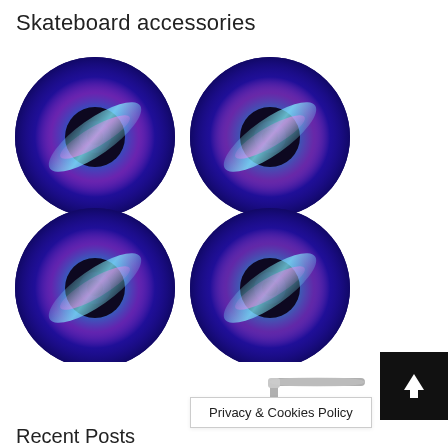Skateboard accessories
[Figure (photo): Four glowing skateboard wheels with blue and pink LED light streaks arranged in a 2x2 grid on white background]
[Figure (photo): Silver L-shaped hex wrench/Allen key tool]
[Figure (other): Black square button with white upward arrow icon]
Privacy & Cookies Policy
Recent Posts